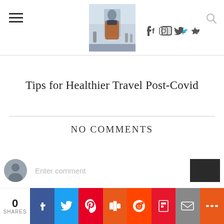Menu icon, logo image, social icons (Facebook, Instagram, Twitter, heart), search icon
Tips for Healthier Travel Post-Covid
NO COMMENTS
Enter comment
0 SHARES | Facebook | Twitter | Pinterest | Mix | Reddit | Flipboard | Email | More